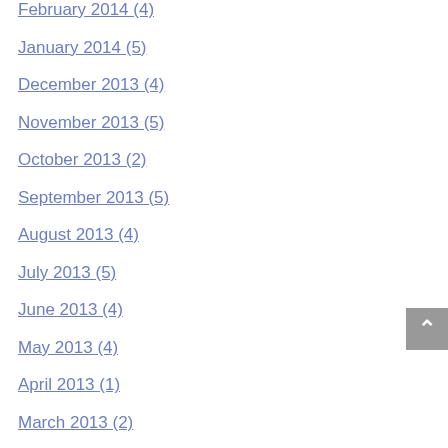February 2014 (4)
January 2014 (5)
December 2013 (4)
November 2013 (5)
October 2013 (2)
September 2013 (5)
August 2013 (4)
July 2013 (5)
June 2013 (4)
May 2013 (4)
April 2013 (1)
March 2013 (2)
February 2013 (1)
June 1970 (1)